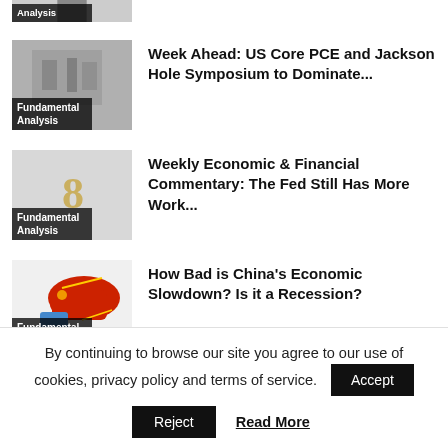[Figure (photo): Clipped thumbnail at top showing partial image with 'Analysis' tag label]
[Figure (photo): Thumbnail image of Federal Reserve building, labeled 'Fundamental Analysis']
Week Ahead: US Core PCE and Jackson Hole Symposium to Dominate...
[Figure (photo): Thumbnail image with number 8, labeled 'Fundamental Analysis']
Weekly Economic & Financial Commentary: The Fed Still Has More Work...
[Figure (photo): Thumbnail image of China map in red, labeled 'Fundamental Analysis']
How Bad is China's Economic Slowdown? Is it a Recession?
[Figure (photo): Partial clipped thumbnail at bottom with teal/pink colors]
GBP/USD: Bearish...
By continuing to browse our site you agree to our use of cookies, privacy policy and terms of service.
Accept
Reject
Read More